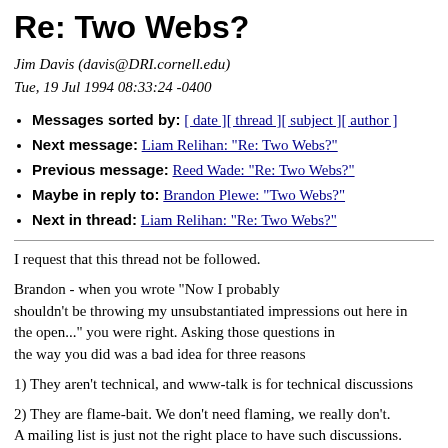Re: Two Webs?
Jim Davis (davis@DRI.cornell.edu)
Tue, 19 Jul 1994 08:33:24 -0400
Messages sorted by: [ date ][ thread ][ subject ][ author ]
Next message: Liam Relihan: "Re: Two Webs?"
Previous message: Reed Wade: "Re: Two Webs?"
Maybe in reply to: Brandon Plewe: "Two Webs?"
Next in thread: Liam Relihan: "Re: Two Webs?"
I request that this thread not be followed.
Brandon - when you wrote "Now I probably shouldn't be throwing my unsubstantiated impressions out here in the open..." you were right. Asking those questions in the way you did was a bad idea for three reasons
1) They aren't technical, and www-talk is for technical discussions
2) They are flame-bait. We don't need flaming, we really don't. A mailing list is just not the right place to have such discussions. A bar or a coffeehouse is much better.